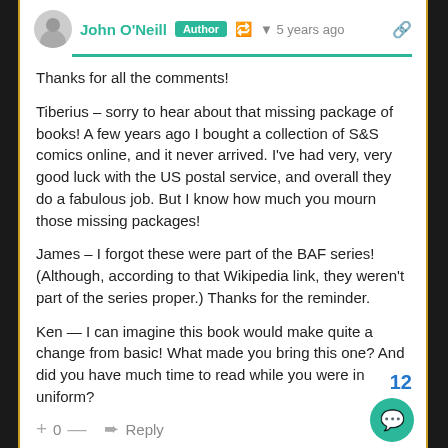John ONeill — Author — 5 years ago
Thanks for all the comments!
Tiberius – sorry to hear about that missing package of books! A few years ago I bought a collection of S&S comics online, and it never arrived. I've had very, very good luck with the US postal service, and overall they do a fabulous job. But I know how much you mourn those missing packages!
James – I forgot these were part of the BAF series! (Although, according to that Wikipedia link, they weren't part of the series proper.) Thanks for the reminder.
Ken — I can imagine this book would make quite a change from basic! What made you bring this one? And did you have much time to read while you were in uniform?
+ 0 — Reply